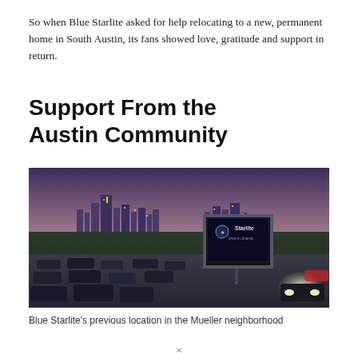So when Blue Starlite asked for help relocating to a new, permanent home in South Austin, its fans showed love, gratitude and support in return.
Support From the Austin Community
[Figure (photo): Nighttime drive-in movie theater scene showing cars parked in rows facing a large illuminated screen displaying the Blue Starlite logo, with the Austin city skyline visible in the background under a purple-hued dusk sky.]
Blue Starlite's previous location in the Mueller neighborhood